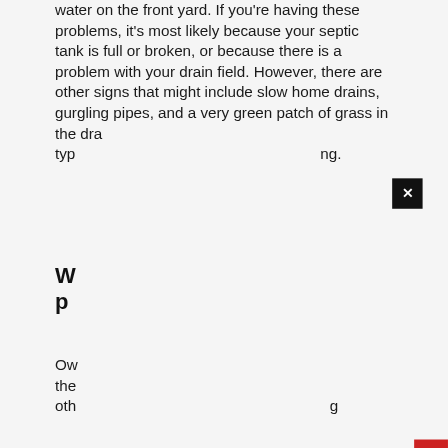water on the front yard. If you're having these problems, it's most likely because your septic tank is full or broken, or because there is a problem with your drain field. However, there are other signs that might include slow home drains, gurgling pipes, and a very green patch of grass in the dra[in field area, depending on the] ty[pe of system you're run]ng.
W[hat] p[roblems can arise?]
Ow[ners of septic systems need to know] the[se common septic system problems] oth[er than a full or broken tank, includin]g